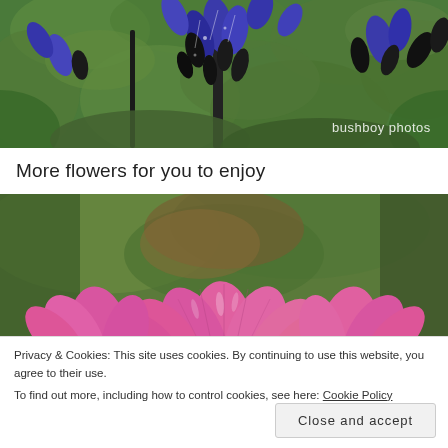[Figure (photo): Close-up photograph of blue/purple salvia flowers with dark stems against a green leafy background. Watermark 'bushboy photos' in white text at bottom right.]
More flowers for you to enjoy
[Figure (photo): Close-up photograph of pink/magenta flowers (cosmos or similar) with blurred green background. Partially obscured by cookie consent banner.]
Privacy & Cookies: This site uses cookies. By continuing to use this website, you agree to their use.
To find out more, including how to control cookies, see here: Cookie Policy
Close and accept